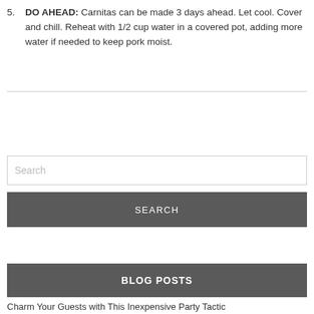5. DO AHEAD: Carnitas can be made 3 days ahead. Let cool. Cover and chill. Reheat with 1/2 cup water in a covered pot, adding more water if needed to keep pork moist.
Search
SEARCH
BLOG POSTS
Charm Your Guests with This Inexpensive Party Tactic